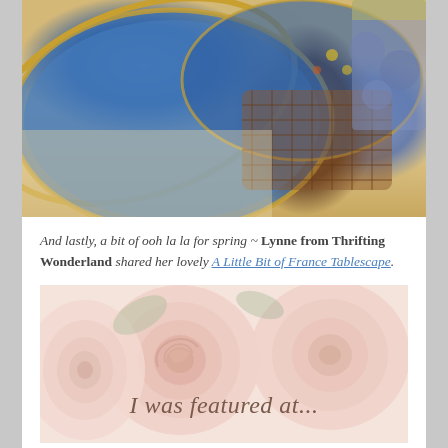[Figure (photo): Close-up photo of blue decorative plates with gold rim and floral pattern, wicker placemat, and colorful quilt/fabric in background on a cream tablecloth — a France-themed tablescape]
And lastly, a bit of ooh la la for spring ~ Lynne from Thrifting Wonderland shared her lovely A Little Bit of France Tablescape.
[Figure (photo): Soft pink ranunculus flowers in pastel tones with cursive text overlay reading 'I was featured at...' — a blog feature badge image]